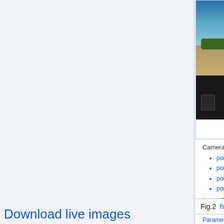[Figure (screenshot): Camera control interface screenshots showing port 0 and port 1 live views with outdoor scene (sky, field, trees)]
Fig.2  http://192.168.0.9
Camera Control Interface
• port 0
• port 1
• port 2
• port 3
Auto WB: ON OFF
Auto Exposure: ON OFF
Parameter Editor
Recorder
Snapshot
Snapshot (raw image data)
Photo finish demo
Temperature monitor
Update firmware
User manual
JP4 Viewer
DebugFS
Download live images